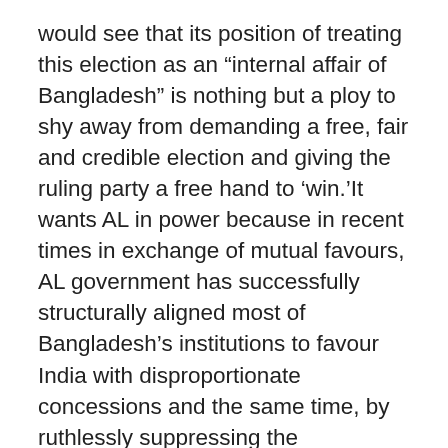would see that its position of treating this election as an “internal affair of Bangladesh” is nothing but a ploy to shy away from demanding a free, fair and credible election and giving the ruling party a free hand to ‘win.’It wants AL in power because in recent times in exchange of mutual favours, AL government has successfully structurally aligned most of Bangladesh’s institutions to favour India with disproportionate concessions and the same time, by ruthlessly suppressing the opposition,AL has also demonstrated to India that in Bangladesh it is its most willing and enduring partner.
In sum, given the internal conditions of unfreedom where playing field is grossly